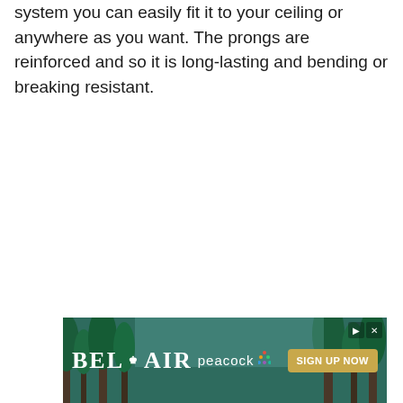system you can easily fit it to your ceiling or anywhere as you want. The prongs are reinforced and so it is long-lasting and bending or breaking resistant.
[Figure (illustration): Advertisement banner for BEL-AIR on Peacock streaming service with a background of tall green trees. Text reads 'BEL AIR peacock SIGN UP NOW' with a golden sign-up button and navigation controls.]